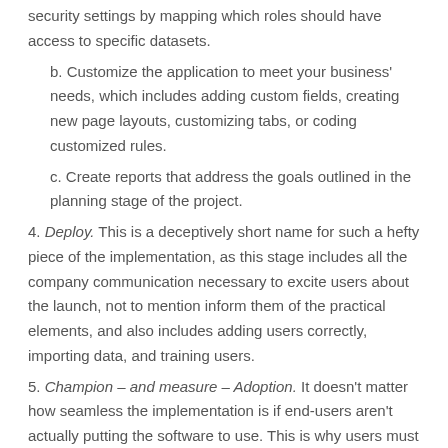security settings by mapping which roles should have access to specific datasets.
b. Customize the application to meet your business' needs, which includes adding custom fields, creating new page layouts, customizing tabs, or coding customized rules.
c. Create reports that address the goals outlined in the planning stage of the project.
4. Deploy. This is a deceptively short name for such a hefty piece of the implementation, as this stage includes all the company communication necessary to excite users about the launch, not to mention inform them of the practical elements, and also includes adding users correctly, importing data, and training users.
5. Champion – and measure – Adoption. It doesn't matter how seamless the implementation is if end-users aren't actually putting the software to use. This is why users must be onboarded and encouraged to adopt the